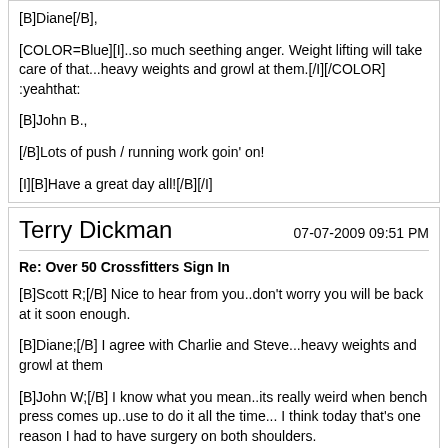[B]Diane[/B],

[COLOR=Blue][I]..so much seething anger. Weight lifting will take care of that...heavy weights and growl at them.[/I][/COLOR]
:yeahthat:

[B]John B.,

[/B]Lots of push / running work goin' on!

[I][B]Have a great day all![/B][/I]
Terry Dickman   07-07-2009 09:51 PM
Re: Over 50 Crossfitters Sign In

[B]Scott R;[/B] Nice to hear from you..don't worry you will be back at it soon enough.

[B]Diane;[/B] I agree with Charlie and Steve...heavy weights and growl at them

[B]John W;[/B] I know what you mean..its really weird when bench press comes up..use to do it all the time... I think today that's one reason I had to have surgery on both shoulders.

[B]Charlie;[/B] yes our tax dollars at work. I always had a hard time with stupid $hit like that when I was in. I really hated the fact that I had